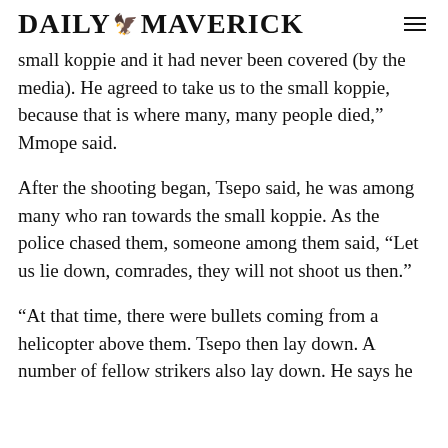DAILY MAVERICK
small koppie and it had never been covered (by the media). He agreed to take us to the small koppie, because that is where many, many people died,” Mmope said.
After the shooting began, Tsepo said, he was among many who ran towards the small koppie. As the police chased them, someone among them said, “Let us lie down, comrades, they will not shoot us then.”
“At that time, there were bullets coming from a helicopter above them. Tsepo then lay down. A number of fellow strikers also lay down. He says he